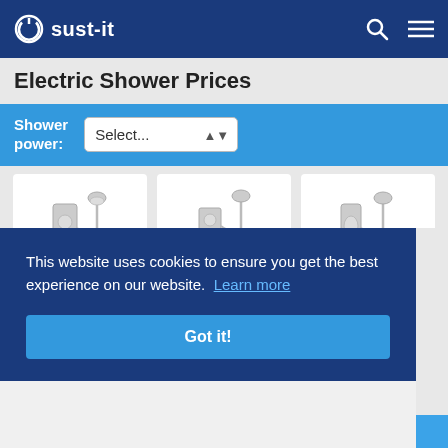sust-it
Electric Shower Prices
Shower power:
[Figure (screenshot): Three electric shower product images shown in white cards side by side]
This website uses cookies to ensure you get the best experience on our website. Learn more
Got it!